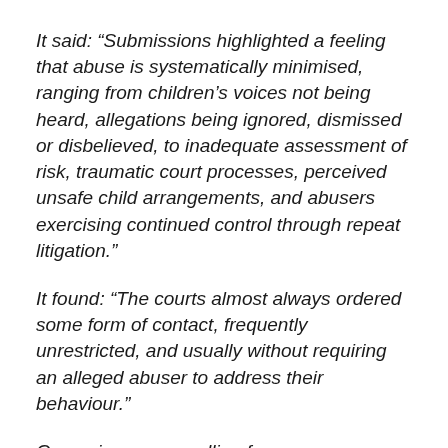It said: “Submissions highlighted a feeling that abuse is systematically minimised, ranging from children’s voices not being heard, allegations being ignored, dismissed or disbelieved, to inadequate assessment of risk, traumatic court processes, perceived unsafe child arrangements, and abusers exercising continued control through repeat litigation.”
It found: “The courts almost always ordered some form of contact, frequently unrestricted, and usually without requiring an alleged abuser to address their behaviour.”
Campaigners are calling for more transparency.
They want the government to provide figures on numbers of abuse victims who’ve lost their children in the courts – and if a parent seeks mental health support due to abuse,